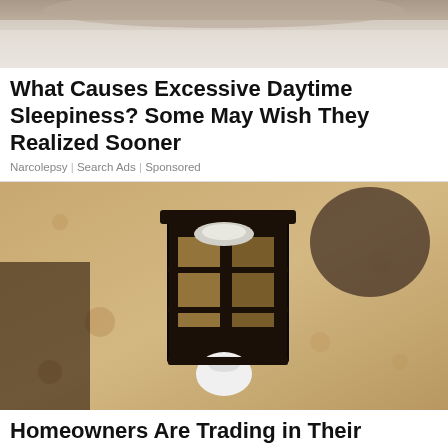[Figure (photo): Top portion of a person sleeping, showing blanket and pillow area]
What Causes Excessive Daytime Sleepiness? Some May Wish They Realized Sooner
Narcolepsy | Search Ads | Sponsored
[Figure (photo): Close-up photo of an outdoor wall-mounted black lantern light fixture on a textured stucco/stone wall, with a white bulb visible at the bottom]
Homeowners Are Trading in Their Doorbell Cams for This.